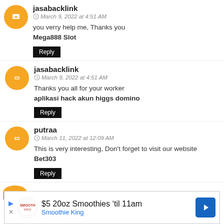jasabacklink
March 9, 2022 at 4:51 AM
you verry help me, Thanks you
Mega888 Slot
Reply
jasabacklink
March 9, 2022 at 4:51 AM
Thanks you all for your worker
aplicasi hack akun higgs domino
Reply
putraa
March 11, 2022 at 12:09 AM
This is very interesting, Don't forget to visit our website Bet303
Reply
[Figure (other): Advertisement banner: $5 20oz Smoothies 'til 11am - Smoothie King]